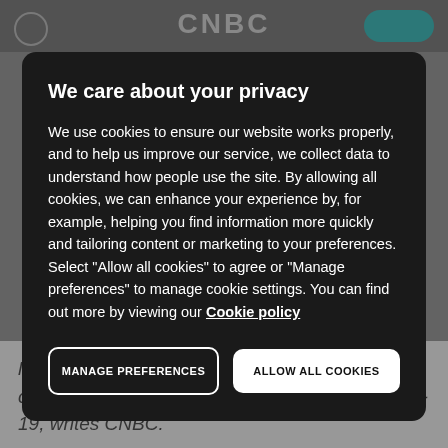CNBC
We care about your privacy
We use cookies to ensure our website works properly, and to help us improve our service, we collect data to understand how people use the site. By allowing all cookies, we can enhance your experience by, for example, helping you find information more quickly and tailoring content or marketing to your preferences. Select “Allow all cookies” to agree or “Manage preferences” to manage cookie settings. You can find out more by viewing our Cookie policy
MANAGE PREFERENCES
ALLOW ALL COOKIES
lower, capping on a record-setting 2021 that came despite the persistent headwinds of Covid-19, writes CNBC.